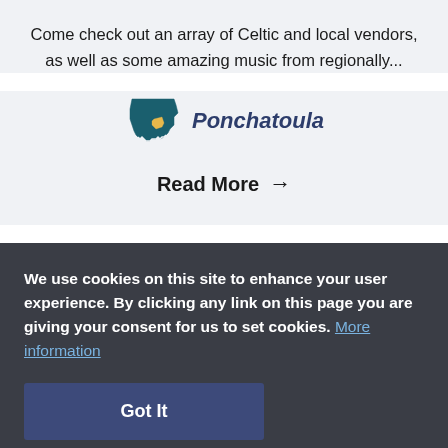Come check out an array of Celtic and local vendors, as well as some amazing music from regionally...
[Figure (illustration): Louisiana state map icon with teal fill and yellow highlight on one parish, next to italic text 'Ponchatoula' in dark navy]
Read More →
We use cookies on this site to enhance your user experience. By clicking any link on this page you are giving your consent for us to set cookies. More information
Got It